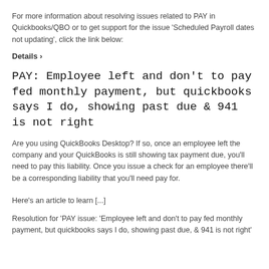For more information about resolving issues related to PAY in Quickbooks/QBO or to get support for the issue 'Scheduled Payroll dates not updating', click the link below:
Details >
PAY: Employee left and don't to pay fed monthly payment, but quickbooks says I do, showing past due & 941 is not right
Are you using QuickBooks Desktop? If so, once an employee left the company and your QuickBooks is still showing tax payment due, you'll need to pay this liability. Once you issue a check for an employee there'll be a corresponding liability that you'll need pay for.
Here's an article to learn [...]
Resolution for 'PAY issue: 'Employee left and don't to pay fed monthly payment, but quickbooks says I do, showing past due, & 941 is not right'